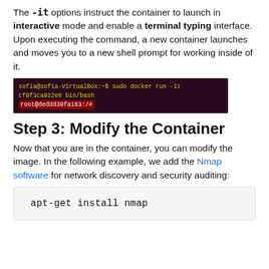The -it options instruct the container to launch in interactive mode and enable a terminal typing interface. Upon executing the command, a new container launches and moves you to a new shell prompt for working inside of it.
[Figure (screenshot): Terminal screenshot showing command: sofia@sofia-VirtualBox:~$ sudo docker run -it cf0f3ca922e0 bin/bash and next line showing root@deddd39fa163:/#]
Step 3: Modify the Container
Now that you are in the container, you can modify the image. In the following example, we add the Nmap software for network discovery and security auditing:
apt-get install nmap